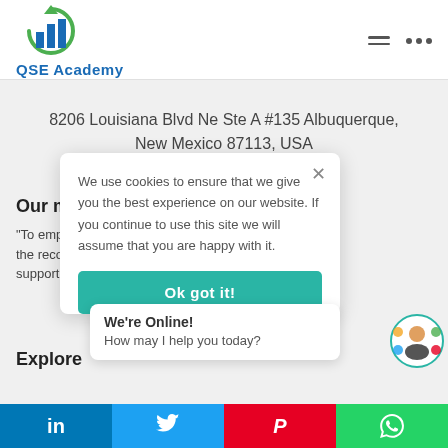[Figure (logo): QSE Academy logo with bar chart icon and green circular arrow, blue text 'QSE Academy']
8206 Louisiana Blvd Ne Ste A #135 Albuquerque, New Mexico 87113, USA
Our mission
“To empower businesses to meet the recognition... support@qse-ac...
We use cookies to ensure that we give you the best experience on our website. If you continue to use this site we will assume that you are happy with it.
Explore
We're Online!
How may I help you today?